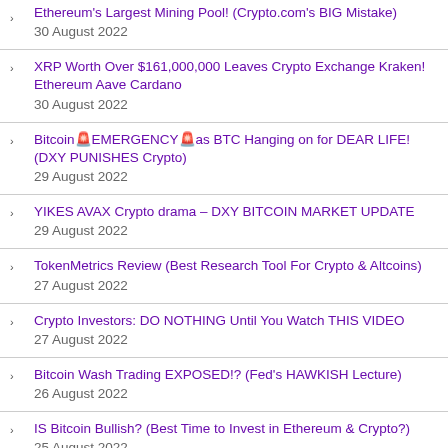Ethereum's Largest Mining Pool! (Crypto.com's BIG Mistake)
30 August 2022
XRP Worth Over $161,000,000 Leaves Crypto Exchange Kraken! Ethereum Aave Cardano
30 August 2022
Bitcoin🚨EMERGENCY🚨as BTC Hanging on for DEAR LIFE! (DXY PUNISHES Crypto)
29 August 2022
YIKES AVAX Crypto drama – DXY BITCOIN MARKET UPDATE
29 August 2022
TokenMetrics Review (Best Research Tool For Crypto & Altcoins)
27 August 2022
Crypto Investors: DO NOTHING Until You Watch THIS VIDEO
27 August 2022
Bitcoin Wash Trading EXPOSED!? (Fed's HAWKISH Lecture)
26 August 2022
IS Bitcoin Bullish? (Best Time to Invest in Ethereum & Crypto?)
25 August 2022
HOW WILL IP LAW IMPACT NFTS WTH AVALABS ATTORNEY
25 August 2022